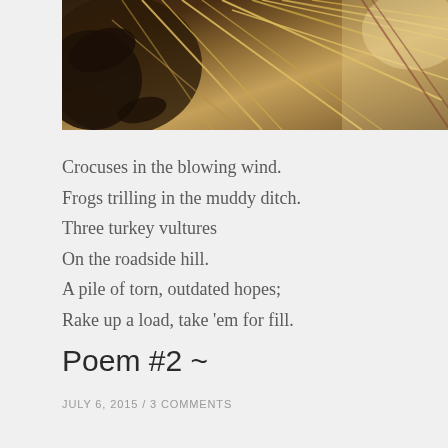[Figure (photo): Close-up photograph of dried grass, straw, and dead leaves in natural earthy tones of brown, tan, and gray]
Crocuses in the blowing wind.
Frogs trilling in the muddy ditch.
Three turkey vultures
On the roadside hill.
A pile of torn, outdated hopes;
Rake up a load, take 'em for fill.
Poem #2 ~
JULY 6, 2015  /  3 COMMENTS